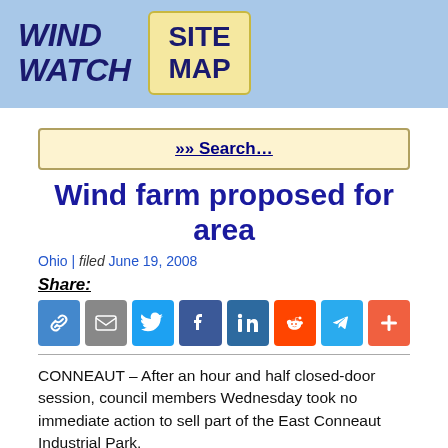WIND WATCH  SITE MAP
»» Search…
Wind farm proposed for area
Ohio | filed June 19, 2008
Share:
[Figure (infographic): Row of social sharing icons: link, email, Twitter, Facebook, LinkedIn, Reddit, Telegram, plus]
CONNEAUT – After an hour and half closed-door session, council members Wednesday took no immediate action to sell part of the East Conneaut Industrial Park.
Council met with interim city manager Edward Somppi to discuss an offer from SCB Site Associates, of